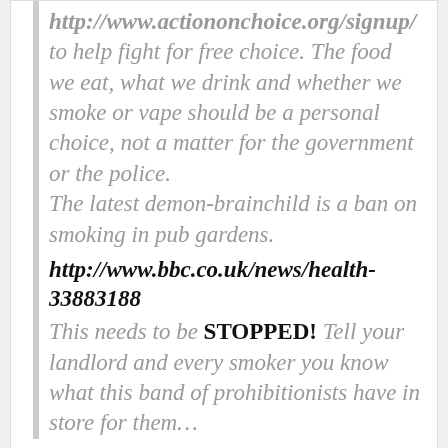http://www.actiononchoice.org/signup/ to help fight for free choice. The food we eat, what we drink and whether we smoke or vape should be a personal choice, not a matter for the government or the police. The latest demon-brainchild is a ban on smoking in pub gardens.
http://www.bbc.co.uk/news/health-33883188
This needs to be STOPPED! Tell your landlord and every smoker you know what this band of prohibitionists have in store for them...
[Figure (photo): Circular profile image for Totally Wicked UK showing a logo with devil face, silver/grey metallic design with 'Totally Wicked' text around the edge]
Totally Wicked_UK
@Mr_Wicked
Article 20 and also 49,005 sign...